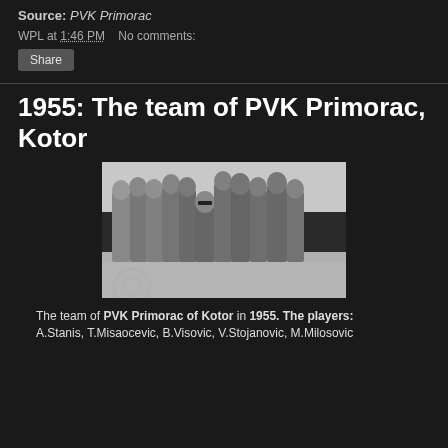Source: PVK Primorac
WPL at 1:46 PM   No comments:
Share
1955: The team of PVK Primorac, Kotor
[Figure (photo): Black and white photograph of the water polo team of PVK Primorac of Kotor in 1955, showing a group of young men in swimwear standing together outdoors near a pool, with an older man wearing sunglasses in the center front.]
The team of PVK Primorac of Kotor in 1955. The players: A.Stanis, T.Misaocevic, B.Visovic, V.Stojanovic, M.Milosovic